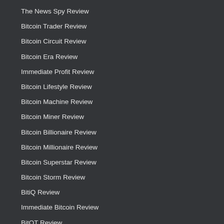The News Spy Review
Bitcoin Trader Review
Bitcoin Circuit Review
Bitcoin Era Review
Immediate Profit Review
Bitcoin Lifestyle Review
Bitcoin Machine Review
Bitcoin Miner Review
Bitcoin Billionaire Review
Bitcoin Millionaire Review
Bitcoin Superstar Review
Bitcoin Storm Review
BitiQ Review
Immediate Bitcoin Review
BitQT Review